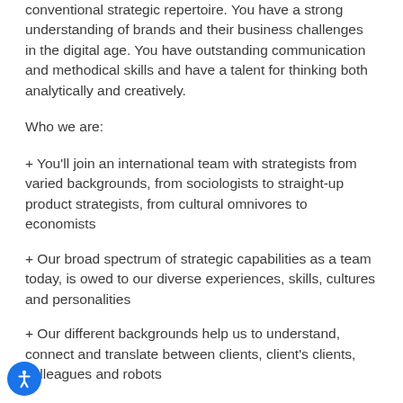conventional strategic repertoire. You have a strong understanding of brands and their business challenges in the digital age. You have outstanding communication and methodical skills and have a talent for thinking both analytically and creatively.
Who we are:
+ You'll join an international team with strategists from varied backgrounds, from sociologists to straight-up product strategists, from cultural omnivores to economists
+ Our broad spectrum of strategic capabilities as a team today, is owed to our diverse experiences, skills, cultures and personalities
+ Our different backgrounds help us to understand, connect and translate between clients, client's clients, colleagues and robots
+ As varied as our backgrounds and skill sets are, so is the role you're taking on as strategist. It will be shaped by and around you